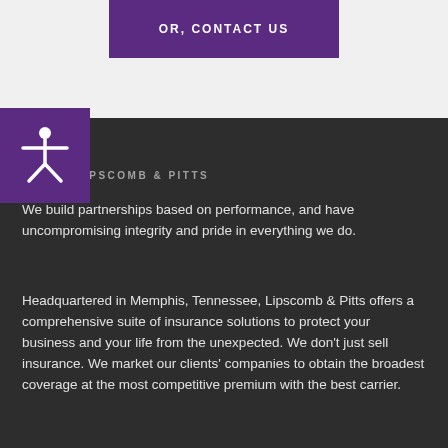[Figure (other): Purple button with text OR, CONTACT US on light grey background]
[Figure (other): Accessibility icon (person with arms outstretched) in white on purple square background]
ABOUT LIPSCOMB & PITTS
We build partnerships based on performance, and have uncompromising integrity and pride in everything we do.
Headquartered in Memphis, Tennessee, Lipscomb & Pitts offers a comprehensive suite of insurance solutions to protect your business and your life from the unexpected. We don't just sell insurance. We market our clients' companies to obtain the broadest coverage at the most competitive premium with the best carrier.